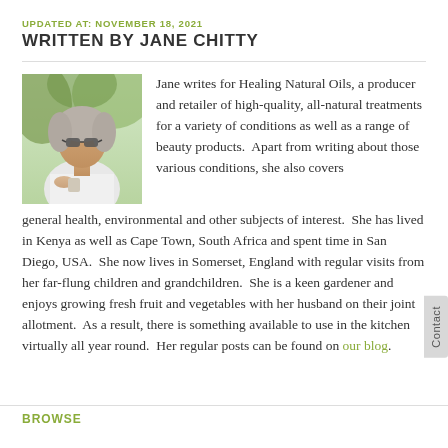UPDATED AT: NOVEMBER 18, 2021
WRITTEN BY JANE CHITTY
[Figure (photo): Photo of Jane Chitty, an older woman in a white top, outdoors]
Jane writes for Healing Natural Oils, a producer and retailer of high-quality, all-natural treatments for a variety of conditions as well as a range of beauty products. Apart from writing about those various conditions, she also covers general health, environmental and other subjects of interest. She has lived in Kenya as well as Cape Town, South Africa and spent time in San Diego, USA. She now lives in Somerset, England with regular visits from her far-flung children and grandchildren. She is a keen gardener and enjoys growing fresh fruit and vegetables with her husband on their joint allotment. As a result, there is something available to use in the kitchen virtually all year round. Her regular posts can be found on our blog.
BROWSE